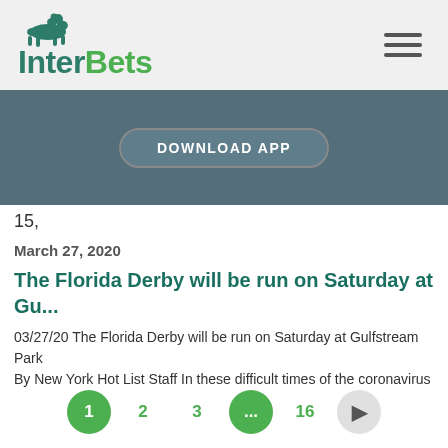InterBets
[Figure (screenshot): DOWNLOAD APP button banner on dark blue-grey background]
15,
March 27, 2020
The Florida Derby will be run on Saturday at Gu...
03/27/20 The Florida Derby will be run on Saturday at Gulfstream Park By New York Hot List Staff In these difficult times of the coronavirus
1  2  3  ...  16